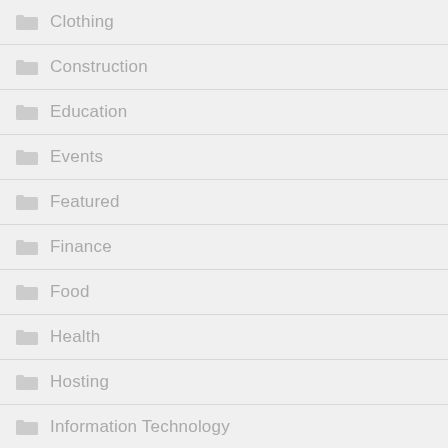Clothing
Construction
Education
Events
Featured
Finance
Food
Health
Hosting
Information Technology